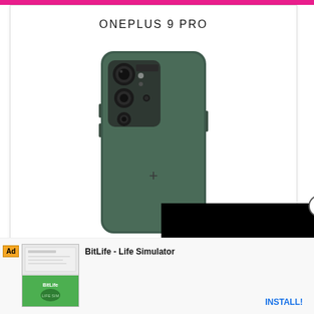ONEPLUS 9 PRO
[Figure (photo): Back view of OnePlus 9 Pro smartphone in dark green/pine green color, showing the large camera module in the upper left corner with multiple lenses and the OnePlus logo on the rear]
With a large, 6.7-inch Quad HD+ display and a Smart 120Hz refresh rate, the OnePlus 9 Pro may have the best screen around. The cameras, tuned in collaboration with Hasselblad, produce excellent still photos and
[Figure (screenshot): Black overlay/video ad covering the right portion of the page]
[Figure (infographic): Ad banner at the bottom for BitLife - Life Simulator with Ad label, app icon images, app name, and INSTALL! button]